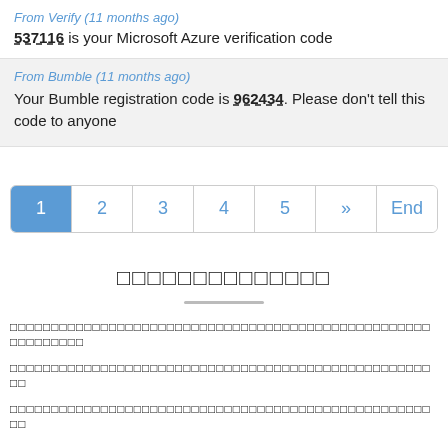From Verify (11 months ago)
537116 is your Microsoft Azure verification code
From Bumble (11 months ago)
Your Bumble registration code is 962434. Please don't tell this code to anyone
Pagination: 1 2 3 4 5 » End
[unicode block characters title]
[unicode block character text line 1]
[unicode block character text line 2]
[unicode block character text line 3]